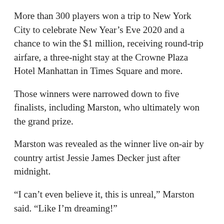More than 300 players won a trip to New York City to celebrate New Year's Eve 2020 and a chance to win the $1 million, receiving round-trip airfare, a three-night stay at the Crowne Plaza Hotel Manhattan in Times Square and more.
Those winners were narrowed down to five finalists, including Marston, who ultimately won the grand prize.
Marston was revealed as the winner live on-air by country artist Jessie James Decker just after midnight.
“I can’t even believe it, this is unreal,” Marston said. “Like I’m dreaming!”
RELATED: Hello 2020! Times Square partied hard to